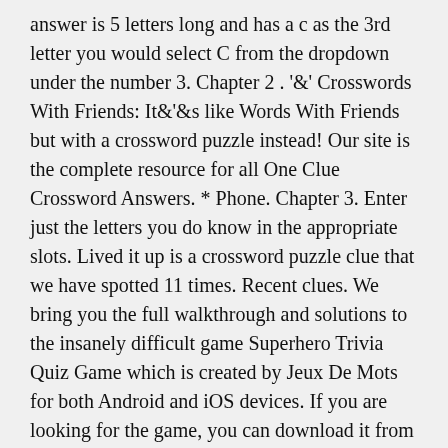answer is 5 letters long and has a c as the 3rd letter you would select C from the dropdown under the number 3. Chapter 2 . â¦ Crosswords With Friends: Itâs like Words With Friends but with a crossword puzzle instead! Our site is the complete resource for all One Clue Crossword Answers. * Phone. Chapter 3. Enter just the letters you do know in the appropriate slots. Lived it up is a crossword puzzle clue that we have spotted 11 times. Recent clues. We bring you the full walkthrough and solutions to the insanely difficult game Superhero Trivia Quiz Game which is created by Jeux De Mots for both Android and iOS devices. If you are looking for the game, you can download it from the Apple iOs App Store at the following link: One Clue Crossword. This field is for validation purposes and should be left unchanged. Each clue looks like this: and, each answer phrase looks like this: Our system collect crossword clues from most populer crossword, cryptic puzzle, quick/small crossword that found in Daily Mail, Daily Telegraph, Daily Express, Daily Mirror, Herald-Sun, The Courier-Mail and